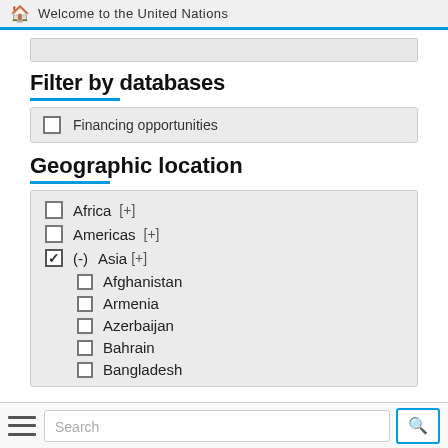Welcome to the United Nations
Filter by databases
Financing opportunities
Geographic location
Africa [+]
Americas [+]
(-) Asia [+]
Afghanistan
Armenia
Azerbaijan
Bahrain
Bangladesh